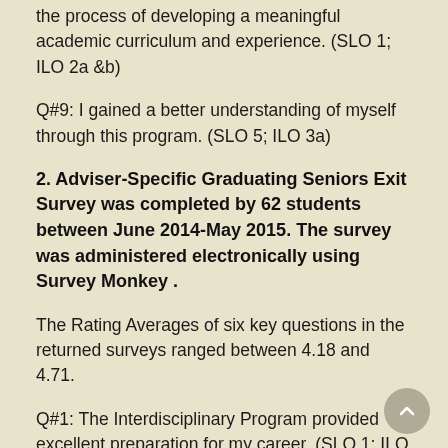the process of developing a meaningful academic curriculum and experience. (SLO 1; ILO 2a &b)
Q#9: I gained a better understanding of myself through this program. (SLO 5; ILO 3a)
2. Adviser-Specific Graduating Seniors Exit Survey was completed by 62 students between June 2014-May 2015. The survey was administered electronically using Survey Monkey .
The Rating Averages of six key questions in the returned surveys ranged between 4.18 and 4.71.
Q#1: The Interdisciplinary Program provided excellent preparation for my career. (SLO 1; ILO 2a &b)
Q#2: I learned important problem-solving skills. (SLO...